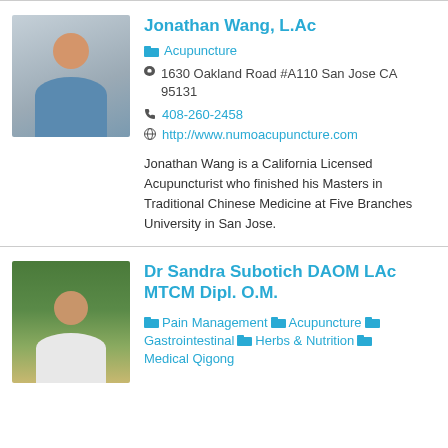Jonathan Wang, L.Ac
Acupuncture
1630 Oakland Road #A110 San Jose CA 95131
408-260-2458
http://www.numoacupuncture.com
Jonathan Wang is a California Licensed Acupuncturist who finished his Masters in Traditional Chinese Medicine at Five Branches University in San Jose.
Dr Sandra Subotich DAOM LAc MTCM Dipl. O.M.
Pain Management  Acupuncture  Gastrointestinal  Herbs & Nutrition  Medical Qigong